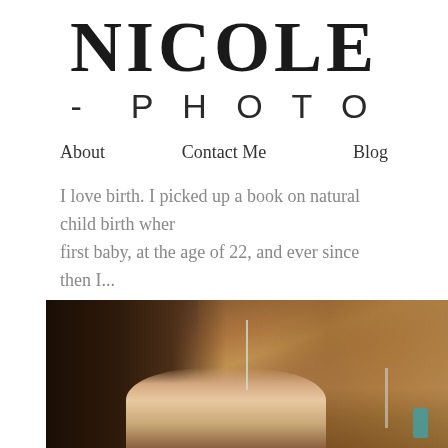NICOLE - PHOTO
About   Contact Me   Blog
I love birth. I picked up a book on natural child birth when first baby, at the age of 22, and ever since then I...
[Figure (photo): A hospital room scene showing a person in a medical bed, with wooden furniture in the background and medical equipment including tubing visible. A close-up partial view showing faces/heads and medical setting details.]